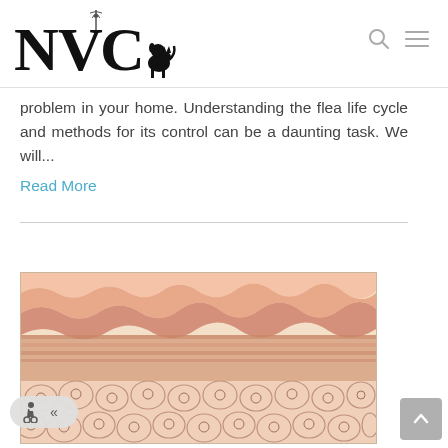NVC veterinary clinic logo with search and menu icons
problem in your home. Understanding the flea life cycle and methods for its control can be a daunting task. We will...
Read More
[Figure (illustration): Medical/veterinary illustration showing layers of skin tissue with cross-section view, depicting cellular structures in pink, brown and beige tones.]